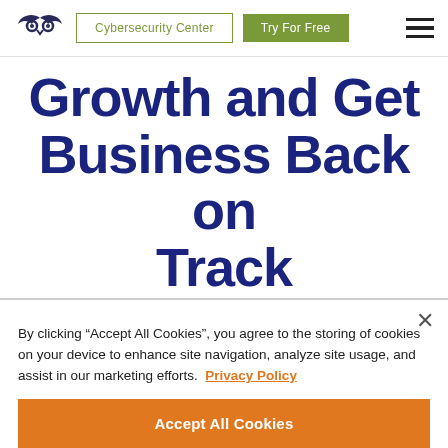Cybersecurity Center | Try For Free
Growth and Get Business Back on Track
By clicking “Accept All Cookies”, you agree to the storing of cookies on your device to enhance site navigation, analyze site usage, and assist in our marketing efforts. Privacy Policy
Accept All Cookies